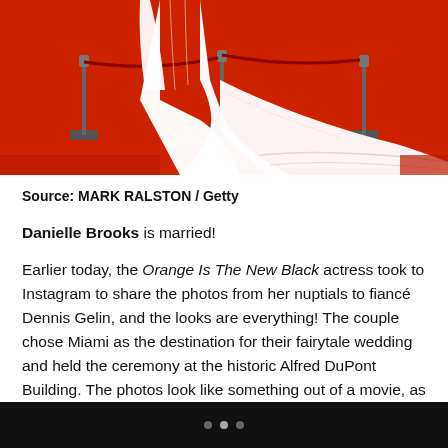[Figure (photo): Red carpet photo showing the lower portion of a person wearing a long white dress/gown with a dramatic train, standing on a red carpet with red stanchions and velvet ropes in the background.]
Source: MARK RALSTON / Getty
Danielle Brooks is married!
Earlier today, the Orange Is The New Black actress took to Instagram to share the photos from her nuptials to fiancé Dennis Gelin, and the looks are everything! The couple chose Miami as the destination for their fairytale wedding and held the ceremony at the historic Alfred DuPont Building. The photos look like something out of a movie, as the couple's